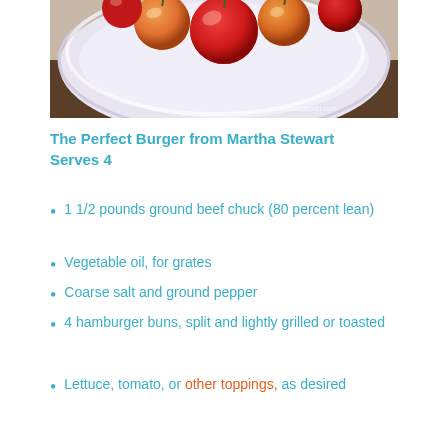[Figure (photo): Photo of red and orange cherry tomatoes on a white plate, viewed from above. Watermark reads 'shootfirsteatlater.com' in bottom right corner.]
The Perfect Burger from Martha Stewart
Serves 4
1 1/2 pounds ground beef chuck (80 percent lean)
Vegetable oil, for grates
Coarse salt and ground pepper
4 hamburger buns, split and lightly grilled or toasted
Lettuce, tomato, or other toppings, as desired